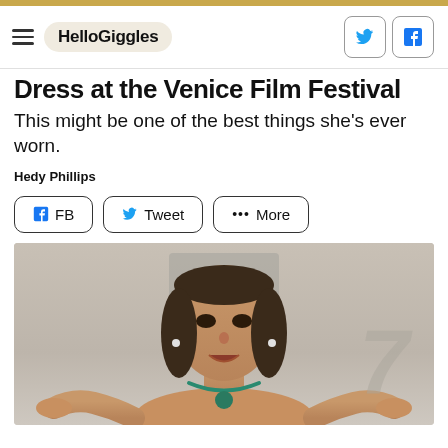HelloGiggles
Dress at the Venice Film Festival
This might be one of the best things she's ever worn.
Hedy Phillips
[Figure (other): Share buttons: FB, Tweet, More]
[Figure (photo): Photo of a young woman at the Venice Film Festival, wearing a beige/nude outfit with a turquoise necklace, hands outstretched, smiling with mouth open. A large '7' watermark is visible in the background.]